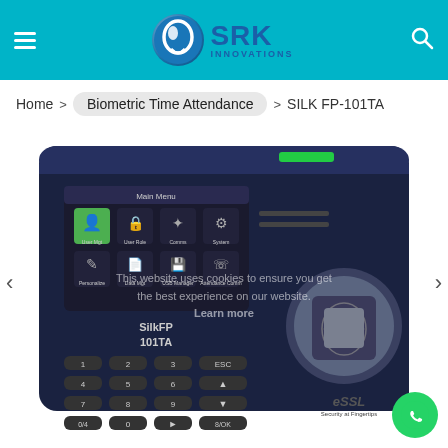[Figure (logo): SRK Innovations logo with circular blue icon and teal header bar with hamburger menu and search icon]
Home > Biometric Time Attendance > SILK FP-101TA
[Figure (photo): eSSL SilkFP 101TA biometric fingerprint time attendance device, dark colored device with LCD screen showing menu icons, numeric keypad, and fingerprint scanner on the right side]